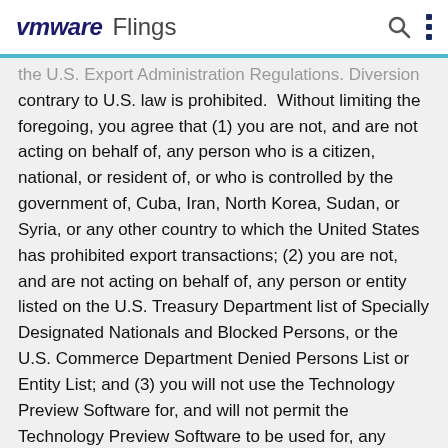vmware Flings
the U.S. Export Administration Regulations. Diversion contrary to U.S. law is prohibited. Without limiting the foregoing, you agree that (1) you are not, and are not acting on behalf of, any person who is a citizen, national, or resident of, or who is controlled by the government of, Cuba, Iran, North Korea, Sudan, or Syria, or any other country to which the United States has prohibited export transactions; (2) you are not, and are not acting on behalf of, any person or entity listed on the U.S. Treasury Department list of Specially Designated Nationals and Blocked Persons, or the U.S. Commerce Department Denied Persons List or Entity List; and (3) you will not use the Technology Preview Software for, and will not permit the Technology Preview Software to be used for, any purposes prohibited by law, including, without limitation, for any prohibited development, design, production of missiles or nuclear